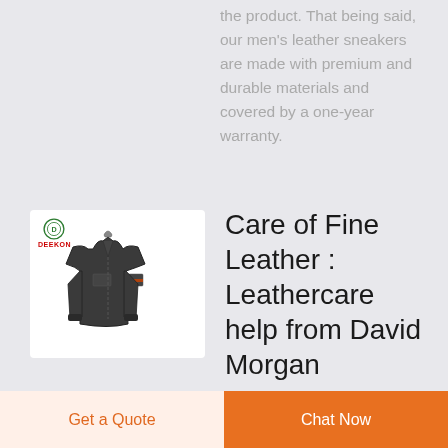the product. That being said, our men's leather sneakers are made with premium and durable materials and covered by a one-year warranty.
[Figure (photo): A dark gray men's work jacket displayed on a hanger with DEEKON brand logo in the top-left corner of the white product photo background.]
Care of Fine Leather : Leathercare help from David Morgan
Get a Quote
Chat Now